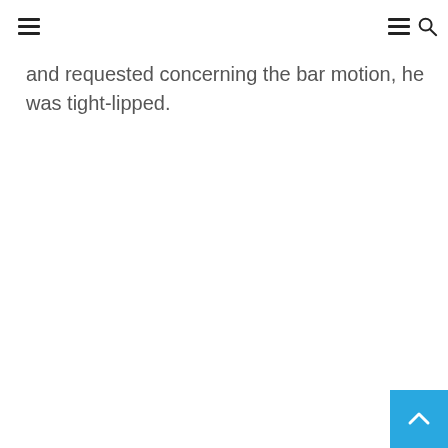[navigation bar with hamburger menu and search icon]
and requested concerning the bar motion, he was tight-lipped.